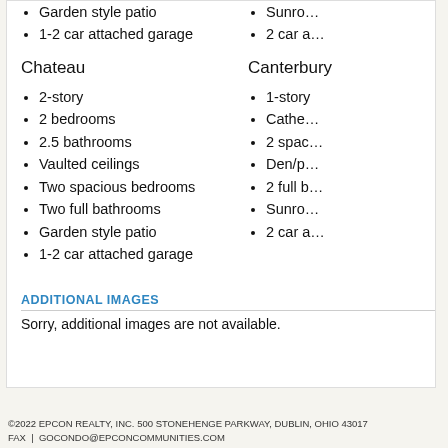Garden style patio
1-2 car attached garage
Sunro…
2 car a…
Chateau
Canterbury
2-story
2 bedrooms
2.5 bathrooms
Vaulted ceilings
Two spacious bedrooms
Two full bathrooms
Garden style patio
1-2 car attached garage
1-story
Cathe…
2 spac…
Den/p…
2 full b…
Sunro…
2 car a…
ADDITIONAL IMAGES
Sorry, additional images are not available.
©2022 EPCON REALTY, INC. 500 STONEHENGE PARKWAY, DUBLIN, OHIO 43017
FAX | GOCONDO@EPCONCOMMUNITIES.COM